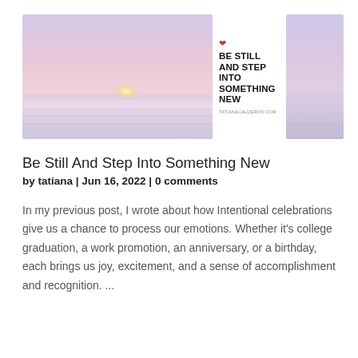[Figure (illustration): Two side-by-side images: a large soft gradient image (pink, purple, lavender hues) on the left, a small red heart/paw icon with bold text 'BE STILL AND STEP INTO SOMETHING NEW' and small URL text 'TATIANACALDERON.COM' in the center, and a narrow matching gradient image on the right.]
Be Still And Step Into Something New
by tatiana | Jun 16, 2022 | 0 comments
In my previous post, I wrote about how Intentional celebrations give us a chance to process our emotions. Whether it's college graduation, a work promotion, an anniversary, or a birthday, each brings us joy, excitement, and a sense of accomplishment and recognition. ...